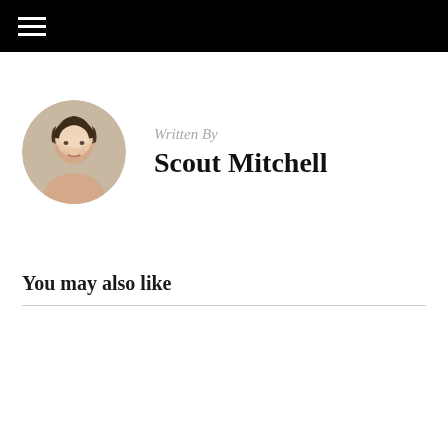Written By
Scout Mitchell
You may also like